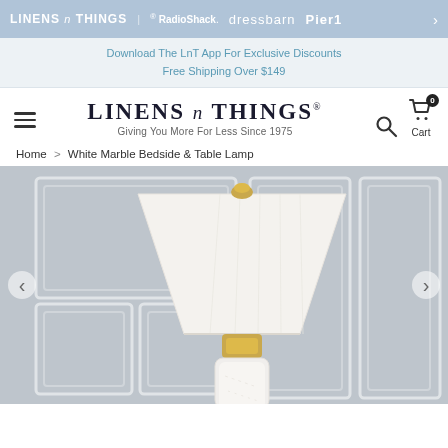LINENS n THINGS  ® RadioShack  dressbarn  Pier1  >
Download The LnT App For Exclusive Discounts
Free Shipping Over $149
[Figure (logo): Linens n Things logo with hamburger menu, search icon, and cart icon with 0 badge]
Home > White Marble Bedside & Table Lamp
[Figure (photo): White table lamp with white fabric shade and gold/brass accent hardware on a white marble cylindrical base, displayed against a gray paneled wall background]